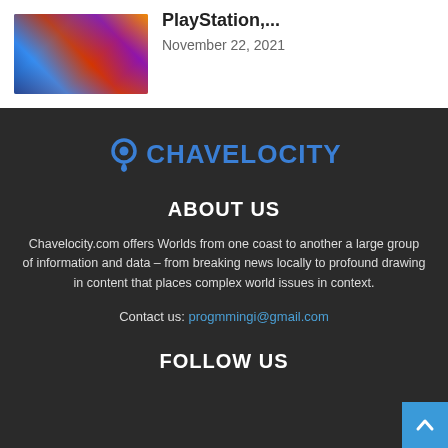[Figure (photo): Thumbnail image of colorful video game covers/artwork grid]
PlayStation,...
November 22, 2021
[Figure (logo): Chavelocity logo with map pin icon and blue text]
ABOUT US
Chavelocity.com offers Worlds from one coast to another a large group of information and data – from breaking news locally to profound drawing in content that places complex world issues in context.
Contact us: progmmingi@gmail.com
FOLLOW US